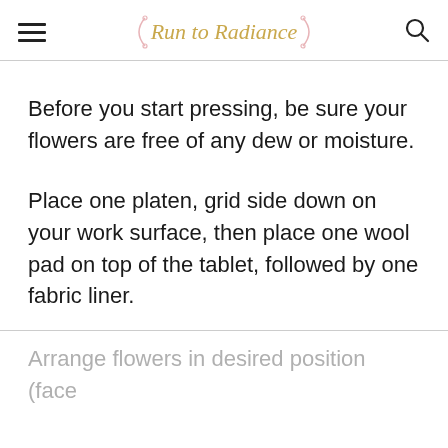Run to Radiance
Before you start pressing, be sure your flowers are free of any dew or moisture.
Place one platen, grid side down on your work surface, then place one wool pad on top of the tablet, followed by one fabric liner.
Arrange flowers in desired position (face